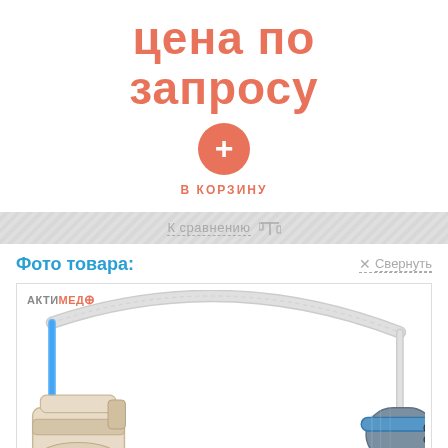цена по запросу
[Figure (other): Orange circle with white plus sign, add to cart button]
В КОРЗИНУ
К сравнению ⚖
Фото товара:
× Свернуть
[Figure (photo): Medical SpO2 sensor/probe with cable, showing finger clip sensor on left and round connector plug on right, white cable on top. АКТИМЕД logo in corner. spo2med.ru watermark.]